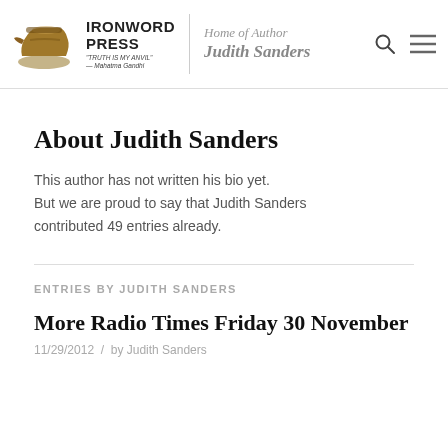[Figure (logo): IronWord Press logo with anvil image and tagline 'TRUTH IS MY ANVIL - Mahatma Gandhi', alongside 'Home of Author Judith Sanders' text, search icon, and hamburger menu icon]
About Judith Sanders
This author has not written his bio yet. But we are proud to say that Judith Sanders contributed 49 entries already.
ENTRIES BY JUDITH SANDERS
More Radio Times Friday 30 November
11/29/2012  /  by Judith Sanders